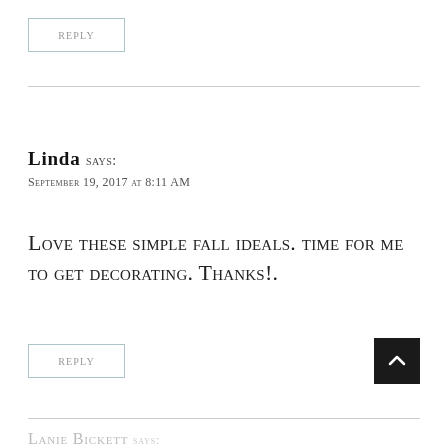Reply
LINDA says:
September 19, 2017 at 8:11 AM
Love these simple fall ideals. time for me to get decorating. Thanks!.
Reply
Lanie Bickett says: